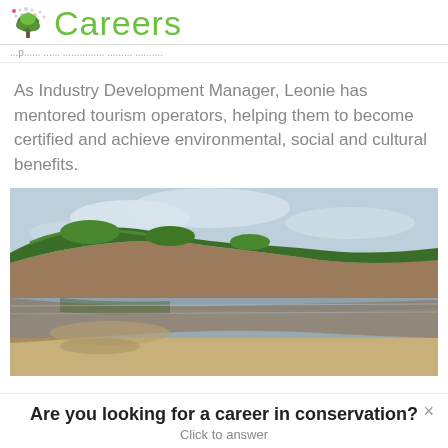Careers
As Industry Development Manager, Leonie has mentored tourism operators, helping them to become certified and achieve environmental, social and cultural benefits.
[Figure (photo): Coastal landscape photo showing sandy cliffs with green vegetation on top, reflected in calm water below, with a wide sandy beach in the foreground and cloudy sky above.]
Are you looking for a career in conservation?
Click to answer